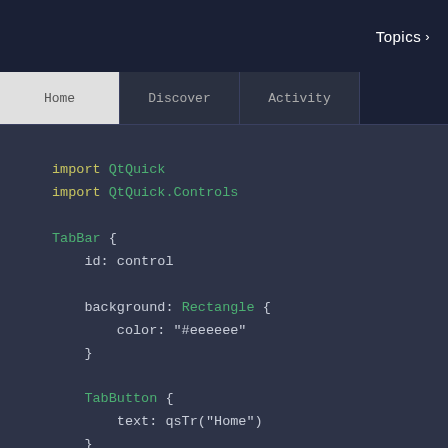Topics >
[Figure (screenshot): Tab navigation bar showing Home, Discover, Activity tabs]
import QtQuick
import QtQuick.Controls

TabBar {
    id: control

    background: Rectangle {
        color: "#eeeeee"
    }

    TabButton {
        text: qsTr("Home")
    }
    TabButton {
        text: qsTr("Discover")
    }
    TabButton {
        text: qsTr("Activity")
    }
}